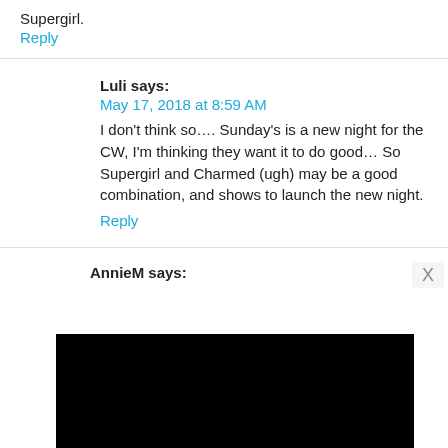Supergirl.
Reply
Luli says:
May 17, 2018 at 8:59 AM
I don't think so.... Sunday's is a new night for the CW, I'm thinking they want it to do good... So Supergirl and Charmed (ugh) may be a good combination, and shows to launch the new night.
Reply
AnnieM says:
[Figure (photo): Black rectangle covering the lower portion of the page, appearing to be an advertisement or video player overlay]